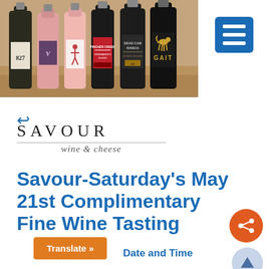[Figure (photo): Photo of six wine bottles arranged on a wooden surface: a sparkling wine labeled 827, a rosé labeled with V, a pink rosé with a figure label, a red wine with Pincher Creek label, a Dead Can Ranch label, and a Gait label bottle.]
[Figure (other): Blue hamburger menu button in top right corner with three white horizontal lines.]
[Figure (logo): Savour Wine & Cheese logo: SAVOUR in uppercase serif with underline, and 'wine & cheese' in italic script below.]
Savour-Saturday's May 21st Complimentary Fine Wine Tasting
Translate »
Date and Time